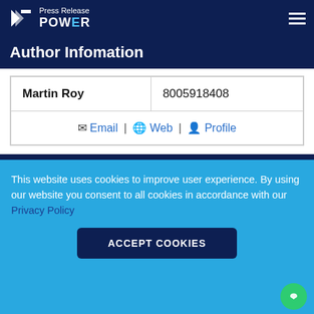Press Release POWER
Author Infomation
| Name | Phone |
| --- | --- |
| Martin Roy | 8005918408 |
| Email | Web | Profile |  |
Featured Image
This website uses cookies to improve user experience. By using our website you consent to all cookies in accordance with our Privacy Policy
ACCEPT COOKIES